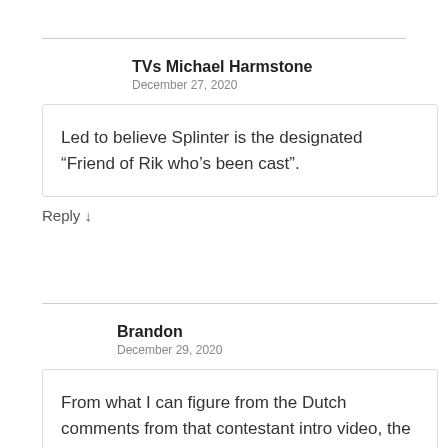TVs Michael Harmstone
December 27, 2020
Led to believe Splinter is the designated “Friend of Rik who’s been cast”.
Reply ↓
Brandon
December 29, 2020
From what I can figure from the Dutch comments from that contestant intro video, the rumours of this season featuring less well known celebs is true, though I don’t know if that was planned or just something that